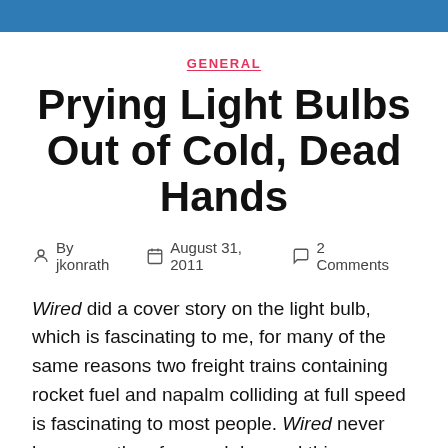GENERAL
Prying Light Bulbs Out of Cold, Dead Hands
By jkonrath   August 31, 2011   2 Comments
Wired did a cover story on the light bulb, which is fascinating to me, for many of the same reasons two freight trains containing rocket fuel and napalm colliding at full speed is fascinating to most people. Wired never has more than four god damned things a year even worth reading, unless you're always in the mood to buyer's guides for $700 headphones, or twelve-page ad spreads